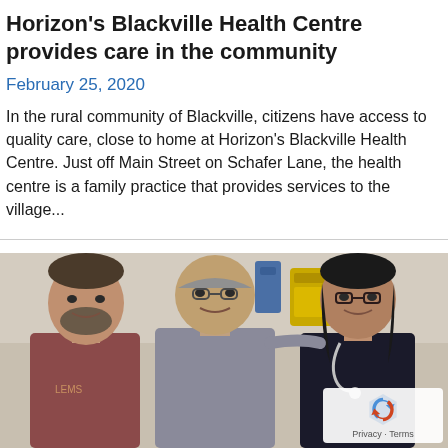Horizon's Blackville Health Centre provides care in the community
February 25, 2020
In the rural community of Blackville, citizens have access to quality care, close to home at Horizon's Blackville Health Centre. Just off Main Street on Schafer Lane, the health centre is a family practice that provides services to the village...
[Figure (photo): Three people standing together in a health centre — a man with a beard on the left, an older bald man in the center, and a woman with glasses and a stethoscope on the right. Medical equipment visible on the wall behind them including a yellow container and dispensers. A reCAPTCHA badge is visible in the lower right corner.]